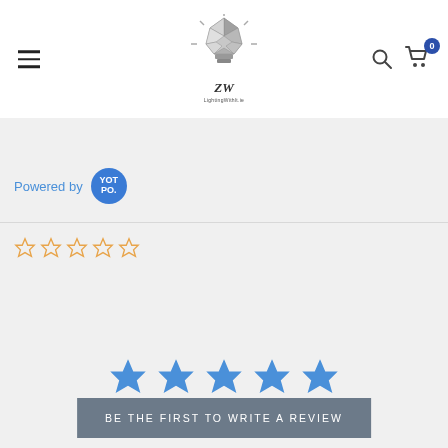[Figure (logo): LightingWithlt.ie logo — geometric light bulb with script initials]
[Figure (infographic): Powered by Yotpo badge — blue circle with YOT PO. text]
[Figure (infographic): Five empty orange star rating icons]
[Figure (infographic): Five filled blue star icons]
BE THE FIRST TO WRITE A REVIEW